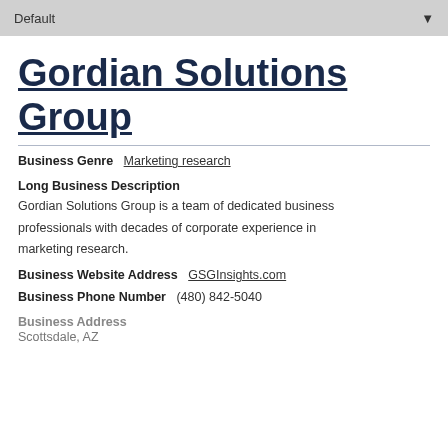Default
Gordian Solutions Group
Business Genre   Marketing research
Long Business Description
Gordian Solutions Group is a team of dedicated business professionals with decades of corporate experience in marketing research.
Business Website Address   GSGInsights.com
Business Phone Number   (480) 842-5040
Business Address
Scottsdale, AZ